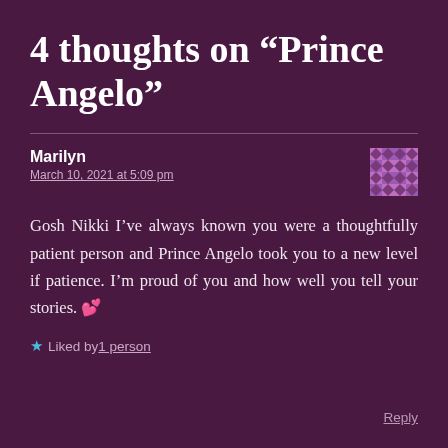4 thoughts on “Prince Angelo”
Marilyn
March 10, 2021 at 5:09 pm
Gosh Nikki I’ve always known you were a thoughtfully patient person and Prince Angelo took you to a new level if patience. I’m proud of you and how well you tell your stories. 💕
★ Liked by 1 person
Reply